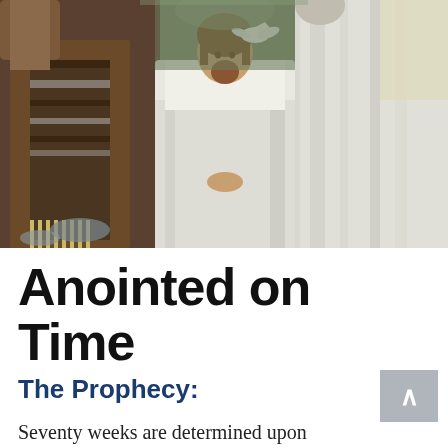[Figure (illustration): Religious painting depicting a man in white robes standing centrally with a white dove above him, flanked by figures in robes, with a natural background — appears to be a depiction of the Baptism of Jesus by James Tissot.]
Anointed on Time
The Prophecy:
Seventy weeks are determined upon